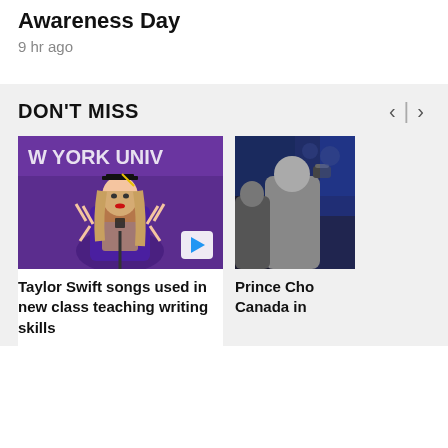Awareness Day
9 hr ago
DON'T MISS
[Figure (photo): Taylor Swift wearing graduation cap and gown at New York University, making peace signs with both hands, with a purple NYU banner behind her]
Taylor Swift songs used in new class teaching writing skills
[Figure (photo): Prince Charles in Canada, partial view of people in crowd]
Prince Cho Canada in